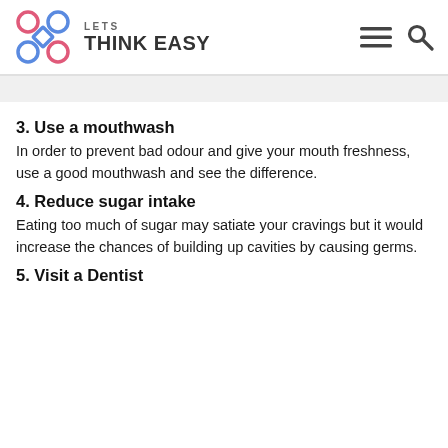LETS THINK EASY
3. Use a mouthwash
In order to prevent bad odour and give your mouth freshness, use a good mouthwash and see the difference.
4. Reduce sugar intake
Eating too much of sugar may satiate your cravings but it would increase the chances of building up cavities by causing germs.
5. Visit a Dentist